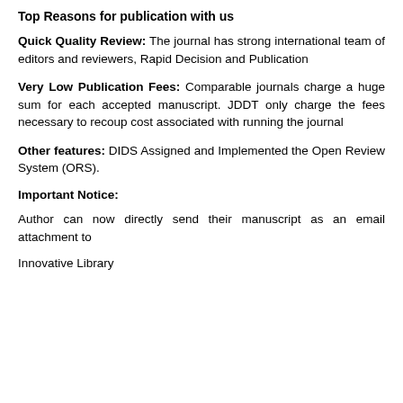Top Reasons for publication with us
Quick Quality Review: The journal has strong international team of editors and reviewers, Rapid Decision and Publication
Very Low Publication Fees: Comparable journals charge a huge sum for each accepted manuscript. JDDT only charge the fees necessary to recoup cost associated with running the journal
Other features: DIDS Assigned and Implemented the Open Review System (ORS).
Important Notice:
Author can now directly send their manuscript as an email attachment to
Innovative Library